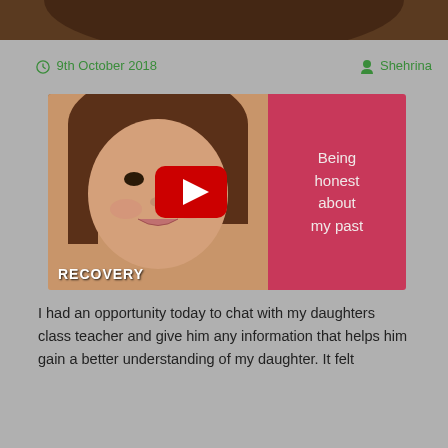[Figure (photo): Top portion of a person's face (hair and forehead) in dark tones at the very top of the page]
9th October 2018
Shehrina
[Figure (screenshot): YouTube-style video thumbnail showing a woman's face on the left side, a pink/red panel on the right with white text reading 'Being honest about my past', a YouTube play button in the center, and 'RECOVERY' label at the bottom left]
I had an opportunity today to chat with my daughters class teacher and give him any information that helps him gain a better understanding of my daughter. It felt